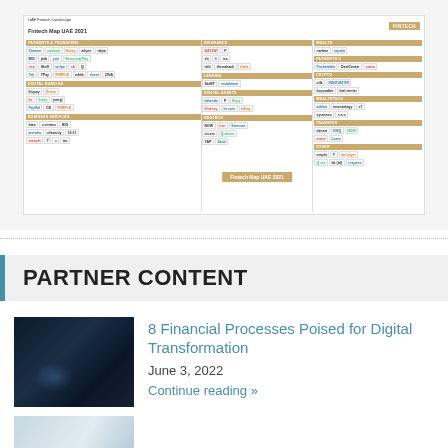[Figure (infographic): Fintech Map UAE 2021 — a landscape map showing logos of UAE fintech companies arranged in category columns. Includes a PINTECH badge in top-right corner. Categories include payments, lending, insurance, wealth, and more. Center label reads 'Fintech Map UAE 2021'.]
PARTNER CONTENT
[Figure (photo): Dark background image of a person in a suit using a digital interface, with blue glowing light effects suggesting financial technology theme.]
8 Financial Processes Poised for Digital Transformation
June 3, 2022
Continue reading »